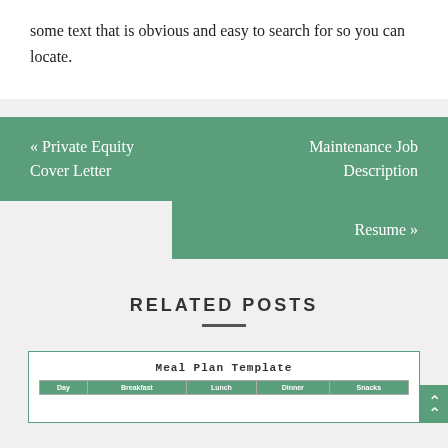some text that is obvious and easy to search for so you can locate.
« Private Equity Cover Letter
Maintenance Job Description Resume »
RELATED POSTS
[Figure (other): Meal Plan Template thumbnail showing a table with columns: Day, Breakfast, Lunch, Dinner, Snacks]